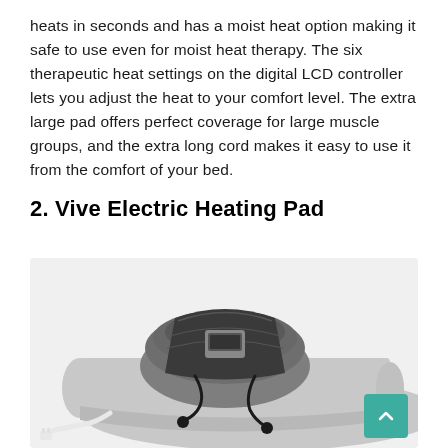heats in seconds and has a moist heat option making it safe to use even for moist heat therapy. The six therapeutic heat settings on the digital LCD controller lets you adjust the heat to your comfort level. The extra large pad offers perfect coverage for large muscle groups, and the extra long cord makes it easy to use it from the comfort of your bed.
2. Vive Electric Heating Pad
[Figure (photo): A gray electric heating pad partially rolled up with a dark drawstring storage pouch on top. A white power cord is visible extending from beneath the pad. A teal back-to-top button is overlaid in the bottom-right corner.]